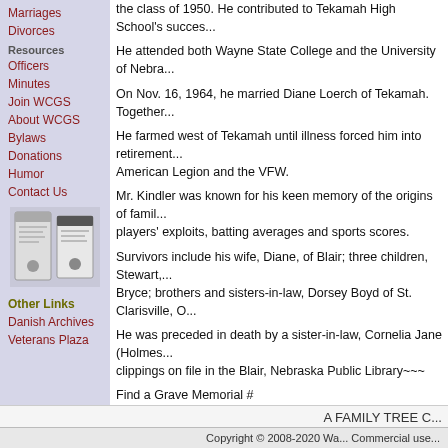Marriages
Divorces
Resources
Officers
Minutes
Join WCGS
About WCGS
Bylaws
Donations
Humor
Contact Us
[Figure (photo): Two brochures/booklets shown in sidebar]
Other Links
Danish Archives
Veterans Plaza
the class of 1950. He contributed to Tekamah High School's success...
He attended both Wayne State College and the University of Nebraska...
On Nov. 16, 1964, he married Diane Loerch of Tekamah. Together...
He farmed west of Tekamah until illness forced him into retirement... American Legion and the VFW.
Mr. Kindler was known for his keen memory of the origins of family... players' exploits, batting averages and sports scores.
Survivors include his wife, Diane, of Blair; three children, Stewart,... Bryce; brothers and sisters-in-law, Dorsey Boyd of St. Clarisville, O...
He was preceded in death by a sister-in-law, Cornelia Jane (Holmes)... clippings on file in the Blair, Nebraska Public Library~~~
Find a Grave Memorial #
Source
Printed in the Washington County Enterprise on 7/2/2010
This obituary was added online on 9/28/2010
This obituary was last updated on 4/8/2022
[BACK]
A FAMILY TREE C...
Copyright © 2008-2020 Wa... Commercial use...